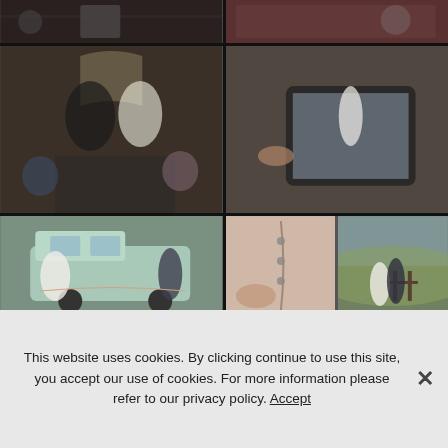[Figure (photo): Wedding photo collage grid showing multiple wedding scenes: top row shows couple with flowers and couple near russet background; second row shows bride and groom kissing in church with audience, and someone photographing bride on tablet; third row shows couple with VW van with 'Thank You' bunting, close-up of bridal dress buttons, and couple in outdoor countryside setting; bottom row shows partial dark indoor and golden decorative images.]
This website uses cookies. By clicking continue to use this site, you accept our use of cookies. For more information please refer to our privacy policy. Accept